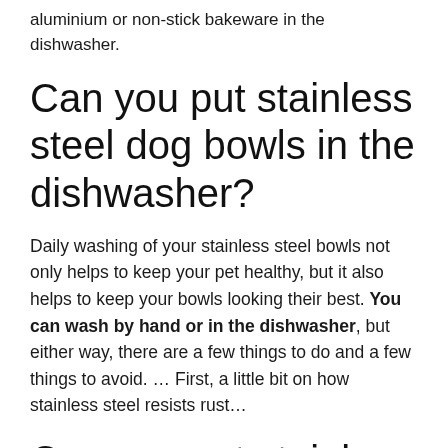aluminium or non-stick bakeware in the dishwasher.
Can you put stainless steel dog bowls in the dishwasher?
Daily washing of your stainless steel bowls not only helps to keep your pet healthy, but it also helps to keep your bowls looking their best. You can wash by hand or in the dishwasher, but either way, there are a few things to do and a few things to avoid. … First, a little bit on how stainless steel resists rust…
Can you put stainless steel